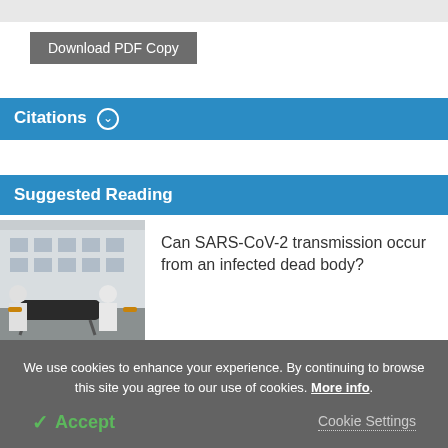Download PDF Copy
Citations
Suggested Reading
[Figure (photo): Medical workers in protective gear carrying a body bag on a stretcher outside a building]
Can SARS-CoV-2 transmission occur from an infected dead body?
We use cookies to enhance your experience. By continuing to browse this site you agree to our use of cookies. More info.
Accept
Cookie Settings